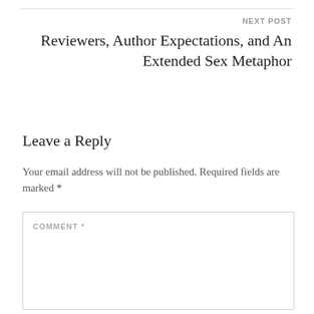NEXT POST
Reviewers, Author Expectations, and An Extended Sex Metaphor
Leave a Reply
Your email address will not be published. Required fields are marked *
COMMENT *